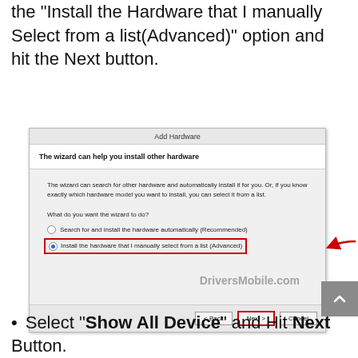the "Install the Hardware that I manually Select from a list(Advanced)" option and hit the Next button.
[Figure (screenshot): Windows Add Hardware wizard dialog box showing two radio button options. The second option 'Install the hardware that I manually select from a list (Advanced)' is selected and highlighted with a red border. A red arrow points to it. The Next button is outlined in red. A watermark reads 'DriversMobile.com'.]
Select “Show All Device” and Hit Next Button.